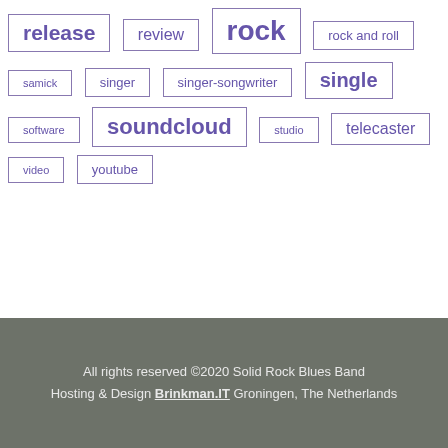release
review
rock
rock and roll
samick
singer
singer-songwriter
single
software
soundcloud
studio
telecaster
video
youtube
All rights reserved ©2020 Solid Rock Blues Band Hosting & Design Brinkman.IT Groningen, The Netherlands